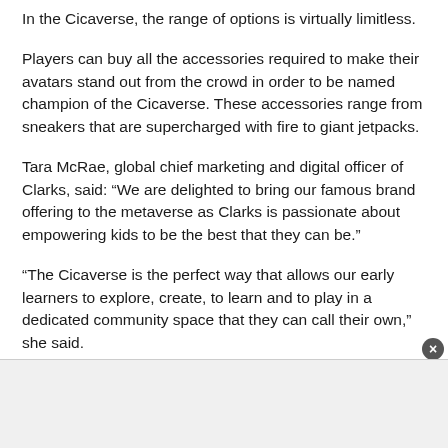In the Cicaverse, the range of options is virtually limitless.
Players can buy all the accessories required to make their avatars stand out from the crowd in order to be named champion of the Cicaverse. These accessories range from sneakers that are supercharged with fire to giant jetpacks.
Tara McRae, global chief marketing and digital officer of Clarks, said: “We are delighted to bring our famous brand offering to the metaverse as Clarks is passionate about empowering kids to be the best that they can be.”
“The Cicaverse is the perfect way that allows our early learners to explore, create, to learn and to play in a dedicated community space that they can call their own,” she said.
[Figure (other): Advertisement banner area at the bottom of the page with a close button (X) in the upper right corner.]